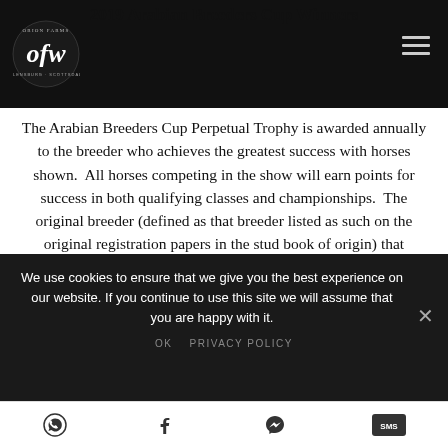2019 Arabian Breeders Cup Winners
Orion Farms OFW Ellensburg · Scottsdale — navigation logo and hamburger menu
The Arabian Breeders Cup Perpetual Trophy is awarded annually to the breeder who achieves the greatest success with horses shown. All horses competing in the show will earn points for success in both qualifying classes and championships. The original breeder (defined as that breeder listed as such on the original registration papers in the stud book of origin) that accumulates the greatest number of points
We use cookies to ensure that we give you the best experience on our website. If you continue to use this site we will assume that you are happy with it.
OK   PRIVACY POLICY
Social sharing icons: WhatsApp, Facebook, Messenger, SMS